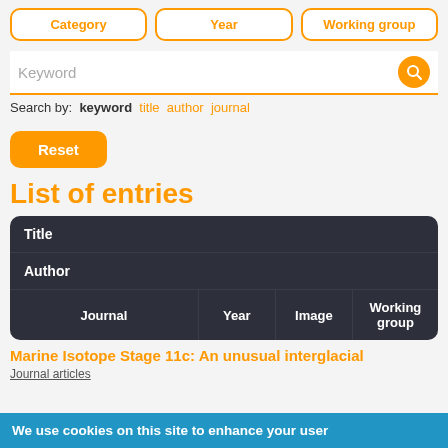[Figure (screenshot): Filter buttons: Category, Year, Working group]
[Figure (screenshot): Keyword search bar with orange search icon]
Search by: keyword  title  author  journal
[Figure (screenshot): Orange Reset button]
List of entries
| Title |  |  |  |
| --- | --- | --- | --- |
| Author |  |  |  |
| Journal | Year | Image | Working group |
Marine Isotope Stage 11c: An unusual interglacial
Journal articles
We use cookies on this site to enhance your user